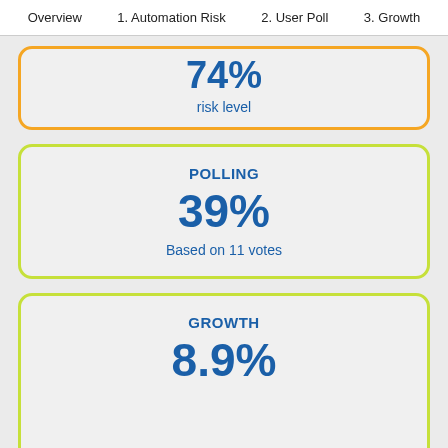Overview   1. Automation Risk   2. User Poll   3. Growth
74%
risk level
POLLING
39%
Based on 11 votes
GROWTH
8.9%